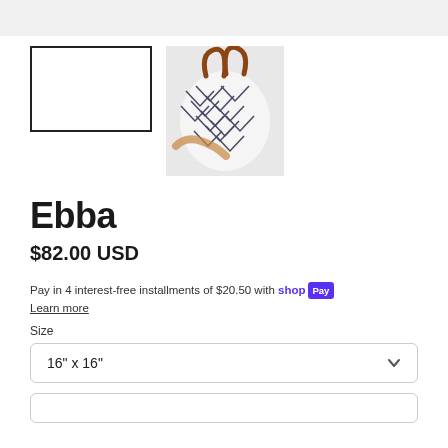[Figure (photo): Top gray navigation/header bar of a web page]
[Figure (photo): Empty white thumbnail placeholder with black border outline]
[Figure (photo): Photo thumbnail of a person holding a chevron-patterned bag]
Ebba
$82.00 USD
Pay in 4 interest-free installments of $20.50 with shop Pay
Learn more
Size
16" x 16"